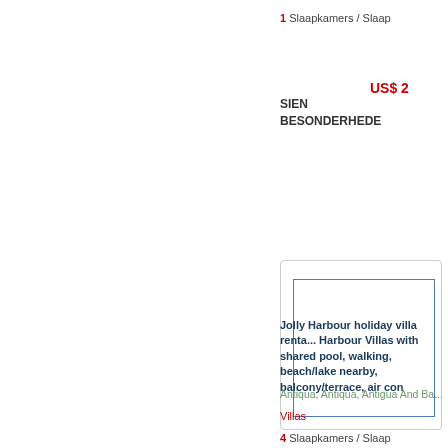1 Slaapkamers / Slaap
US$ 2
SIEN BESONDERHEDE
[Figure (screenshot): Card with inner blue-bordered rectangle, partially visible]
Jolly Harbour holiday villa renta... Harbour Villas with shared pool, walking, beach/lake nearby, balcony/terrace, air con
Antiqua, Antiqua, Antigua And Ba...
Villas
4 Slaapkamers / Slaap